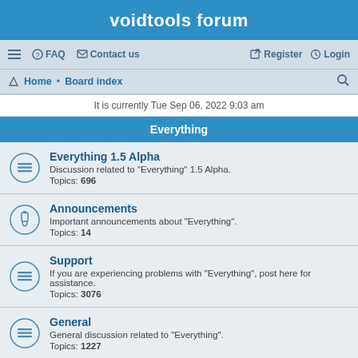voidtools forum
≡  FAQ  Contact us    Register  Login
Home · Board index
It is currently Tue Sep 06, 2022 9:03 am
Everything
Everything 1.5 Alpha
Discussion related to "Everything" 1.5 Alpha.
Topics: 696
Announcements
Important announcements about "Everything".
Topics: 14
Support
If you are experiencing problems with "Everything", post here for assistance.
Topics: 3076
General
General discussion related to "Everything".
Topics: 1227
Suggestions
Have a suggestion for "Everything"? Please post it here.
Topics: 1390
Bug report